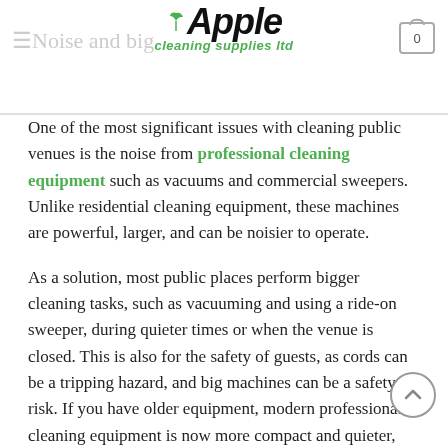Noise and big | Apple Cleaning Supplies Ltd | 0
One of the most significant issues with cleaning public venues is the noise from professional cleaning equipment such as vacuums and commercial sweepers. Unlike residential cleaning equipment, these machines are powerful, larger, and can be noisier to operate.
As a solution, most public places perform bigger cleaning tasks, such as vacuuming and using a ride-on sweeper, during quieter times or when the venue is closed. This is also for the safety of guests, as cords can be a tripping hazard, and big machines can be a safety risk. If you have older equipment, modern professional cleaning equipment is now more compact and quieter, without compromising the quality. If you must vacuum or use a larger machine during operating hours, be sure to block off the area and be aware of your surroundings. Consider using a battery-powered backpack